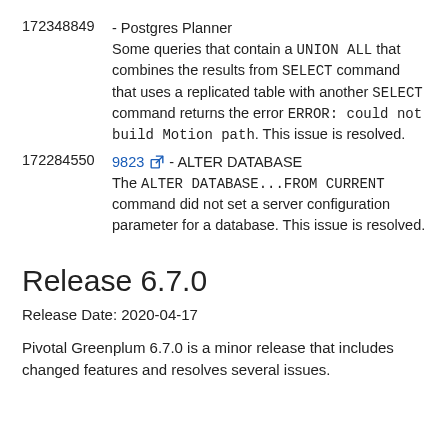172348849 - Postgres Planner — Some queries that contain a UNION ALL that combines the results from SELECT command that uses a replicated table with another SELECT command returns the error ERROR: could not build Motion path. This issue is resolved.
172284550 9823 - ALTER DATABASE — The ALTER DATABASE...FROM CURRENT command did not set a server configuration parameter for a database. This issue is resolved.
Release 6.7.0
Release Date: 2020-04-17
Pivotal Greenplum 6.7.0 is a minor release that includes changed features and resolves several issues.